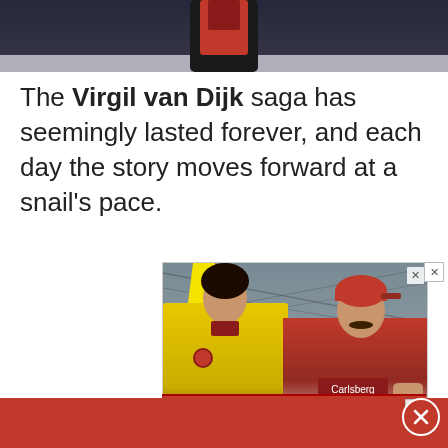[Figure (photo): Partial top photo of a person in a dark jacket at a sports venue]
The Virgil van Dijk saga has seemingly lasted forever, and each day the story moves forward at a snail’s pace.
[Figure (photo): Advertisement image showing two people: a woman in a yellow jacket and a man in a red Liverpool FC shirt with a Carlsberg logo, seated at what appears to be a stadium]